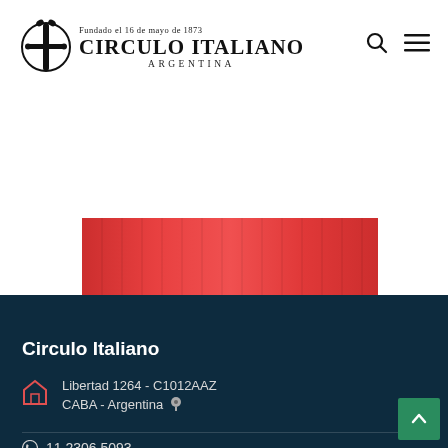Circulo Italiano Argentina — Fundado el 16 de mayo de 1873
[Figure (illustration): Red rectangular block with vertical stripe texture, partially visible, center of page]
Circulo Italiano
Libertad 1264 - C1012AAZ
CABA - Argentina
11 2306 5093